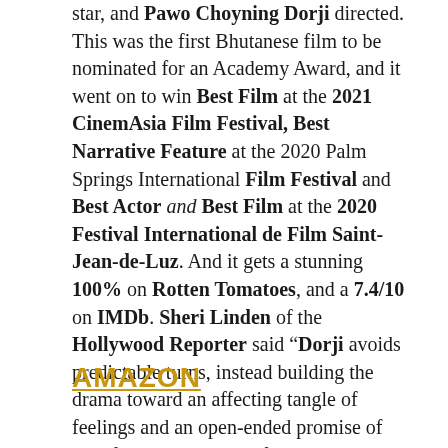star, and Pawo Choyning Dorji directed. This was the first Bhutanese film to be nominated for an Academy Award, and it went on to win Best Film at the 2021 CinemAsia Film Festival, Best Narrative Feature at the 2020 Palm Springs International Film Festival and Best Actor and Best Film at the 2020 Festival International de Film Saint-Jean-de-Luz. And it gets a stunning 100% on Rotten Tomatoes, and a 7.4/10 on IMDb. Sheri Linden of the Hollywood Reporter said "Dorji avoids predictable turns, instead building the drama toward an affecting tangle of feelings and an open-ended promise of transformation." I'm definitely tuning in.
AMAZON
...